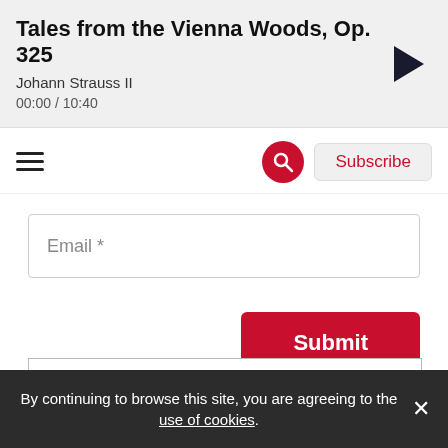Tales from the Vienna Woods, Op. 325
Johann Strauss II
00:00 / 10:40
[Figure (screenshot): Navigation bar with hamburger menu, search button (red circle with magnifying glass), and Subscribe button]
Email *
Submit
[Figure (logo): Partial logo reading 'Live The Music' in black and red serif font]
[Figure (infographic): Social media icon row: Facebook (blue), Twitter (cyan), YouTube (red), WhatsApp (green) circles]
By continuing to browse this site, you are agreeing to the use of cookies.